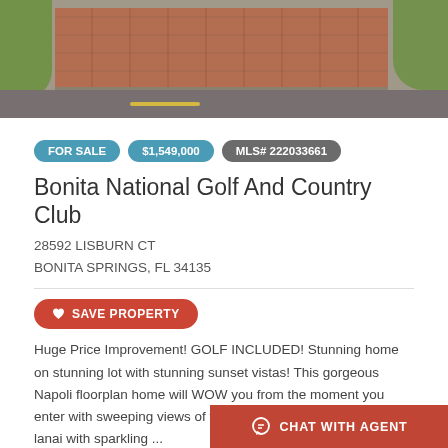[Figure (photo): Aerial/street view photo showing brick paver driveway with road and grass areas at Bonita National Golf and Country Club property]
FOR SALE
$1,549,000
MLS# 222033661
Bonita National Golf And Country Club
28592 LISBURN CT
BONITA SPRINGS, FL 34135
♥ SAVE PROPERTY
Huge Price Improvement! GOLF INCLUDED! Stunning home on stunning lot with stunning sunset vistas! This gorgeous Napoli floorplan home will WOW you from the moment you enter with sweeping views of the Great Room to the fantastic lanai with sparkling ...
2428 Sqft, 0.24 Acres
3 Bed, 2 Bath
Status A-Active
Listing Courtesy of:
Local Real Estate LLC
CHAT WITH AGENT